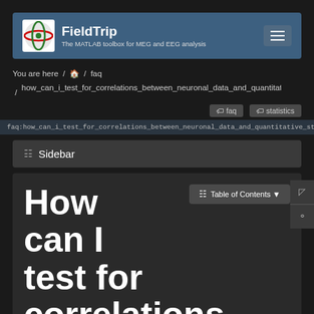FieldTrip — The MATLAB toolbox for MEG and EEG analysis
You are here / 🏠 / faq / how_can_i_test_for_correlations_between_neuronal_data_and_quantitativ...
faq  statistics
faq:how_can_i_test_for_correlations_between_neuronal_data_and_quantitative_stimulus_and_b...
Sidebar
How can I test for correlations